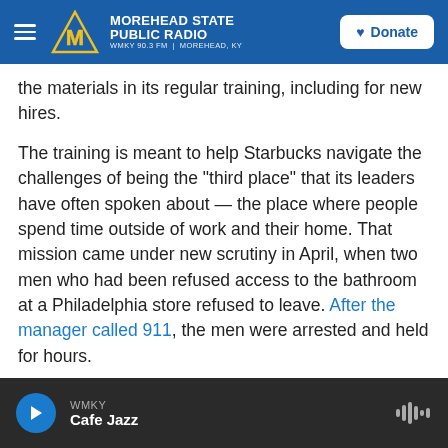MOREHEAD STATE PUBLIC RADIO | WMKY 90.3 FM | MOREHEAD, KY | Donate
the materials in its regular training, including for new hires.
The training is meant to help Starbucks navigate the challenges of being the "third place" that its leaders have often spoken about — the place where people spend time outside of work and their home. That mission came under new scrutiny in April, when two men who had been refused access to the bathroom at a Philadelphia store refused to leave. After the manager called 911, the men were arrested and held for hours.
WMKY | Cafe Jazz